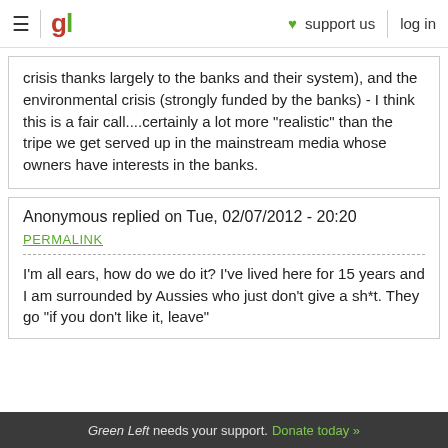gl  ♥ support us  log in
crisis thanks largely to the banks and their system), and the environmental crisis (strongly funded by the banks) - I think this is a fair call....certainly a lot more "realistic" than the tripe we get served up in the mainstream media whose owners have interests in the banks.
Anonymous replied on Tue, 02/07/2012 - 20:20
PERMALINK
I'm all ears, how do we do it? I've lived here for 15 years and I am surrounded by Aussies who just don't give a sh*t. They go "if you don't like it, leave"
Green Left needs your support. Donate today »